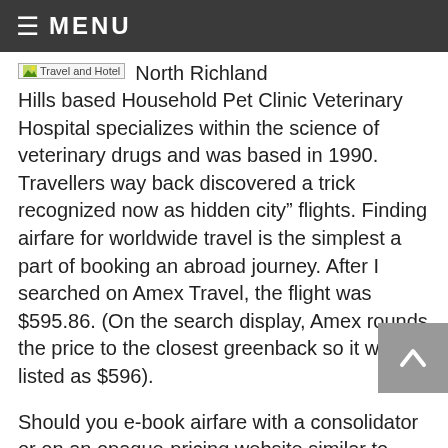MENU
[Figure (other): Travel and Hotel image placeholder with broken image icon]
North Richland Hills based Household Pet Clinic Veterinary Hospital specializes within the science of veterinary drugs and was based in 1990. Travellers way back discovered a trick recognized now as hidden city” flights. Finding airfare for worldwide travel is the simplest a part of booking an abroad journey. After I searched on Amex Travel, the flight was $595.86. (On the search display, Amex rounds the price to the closest greenback so it was listed as $596).
Should you e-book airfare with a consolidator or on an opaque-pricing website similar to Priceline or Hotwire, you could possibly score a cheaper flight than the choices out there in a bundle. With greater than four hundred airways from 1,seven hundred departure cities plus world-class Vegas resorts, we can assist you create an awesome